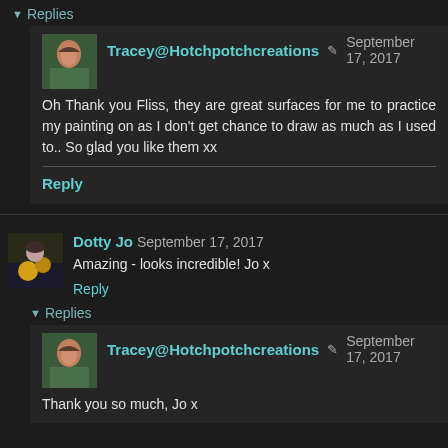▾ Replies
Tracey@Hotchpotchcreations ✏ September 17, 2017
Oh Thank you Fliss, they are great surfaces for me to practice my painting on as I don't get chance to draw as much as I used to.. So glad you like them xx
Reply
Dotty Jo September 17, 2017
Amazing - looks incredible! Jo x
Reply
▾ Replies
Tracey@Hotchpotchcreations ✏ September 17, 2017
Thank you so much, Jo x